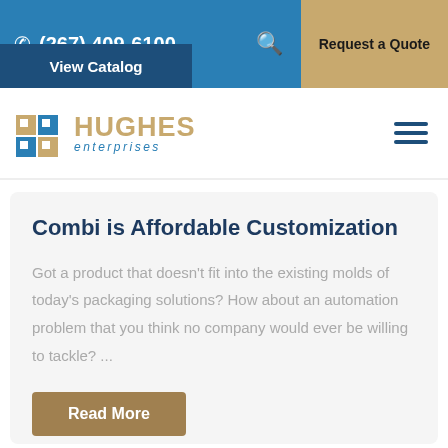(267) 409-6100  Request a Quote
View Catalog
[Figure (logo): Hughes Enterprises logo with stylized blue and gold building icon, text HUGHES in gold and enterprises in blue italic]
Combi is Affordable Customization
Got a product that doesn’t fit into the existing molds of today’s packaging solutions? How about an automation problem that you think no company would ever be willing to tackle? ...
Read More